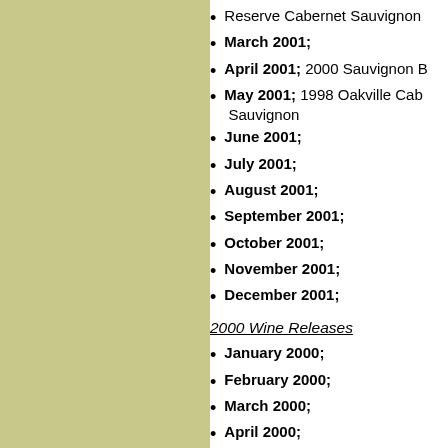Reserve Cabernet Sauvignon
March 2001;
April 2001; 2000 Sauvignon B…
May 2001; 1998 Oakville Cabernet Sauvignon
June 2001;
July 2001;
August 2001;
September 2001;
October 2001;
November 2001;
December 2001;
2000 Wine Releases
January 2000;
February 2000;
March 2000;
April 2000;
May 2000; 1997 Oakville Cabernet Sauvignon
June 2000;
July 2000;
August 2000;
September 2000;